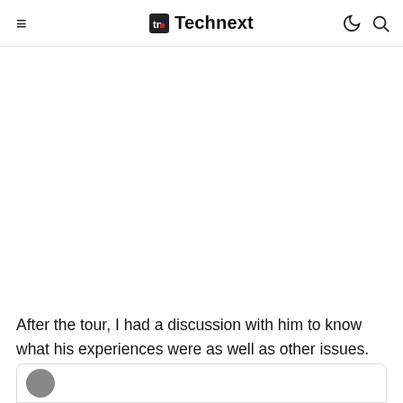Technext
After the tour, I had a discussion with him to know what his experiences were as well as other issues.